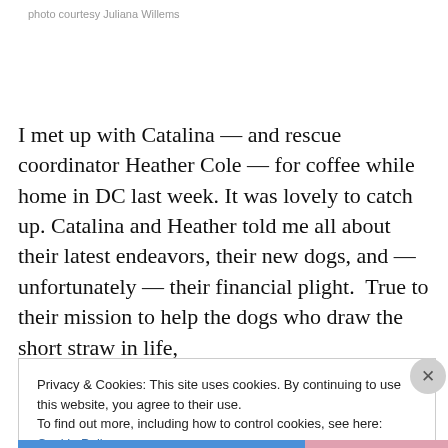photo courtesy Juliana Willems
I met up with Catalina — and rescue coordinator Heather Cole — for coffee while home in DC last week. It was lovely to catch up. Catalina and Heather told me all about their latest endeavors, their new dogs, and — unfortunately — their financial plight.  True to their mission to help the dogs who draw the short straw in life,
Privacy & Cookies: This site uses cookies. By continuing to use this website, you agree to their use.
To find out more, including how to control cookies, see here: Cookie Policy
Close and accept